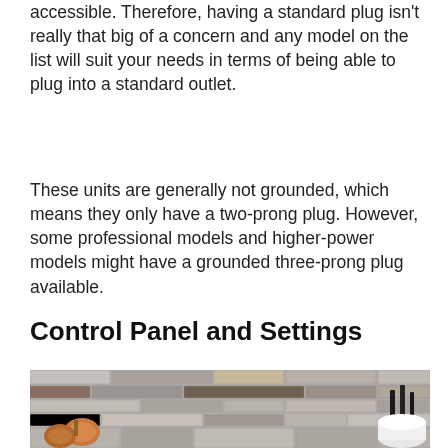accessible. Therefore, having a standard plug isn't really that big of a concern and any model on the list will suit your needs in terms of being able to plug into a standard outlet.
These units are generally not grounded, which means they only have a two-prong plug. However, some professional models and higher-power models might have a grounded three-prong plug available.
Control Panel and Settings
[Figure (photo): Kitchen scene with copper decorative objects on the left and black utensils in a white container on the right, against a stone tile backsplash background.]